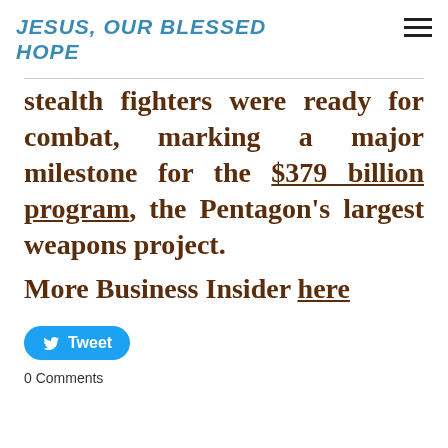JESUS, OUR BLESSED HOPE
stealth fighters were ready for combat, marking a major milestone for the $379 billion program, the Pentagon's largest weapons project.
More Business Insider here
Tweet
0 Comments